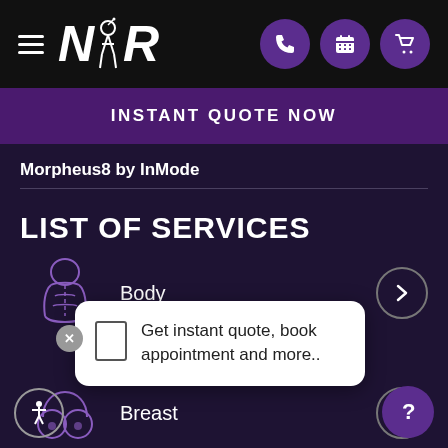[Figure (screenshot): Top navigation bar with hamburger menu, NR logo, and three purple circular icon buttons (phone, calendar, cart) on black background]
INSTANT QUOTE NOW
Morpheus8 by InMode
LIST OF SERVICES
[Figure (illustration): Purple outline illustration of a torso/body silhouette]
Body
Get instant quote, book appointment and more..
[Figure (illustration): Purple outline illustration of breast/chest area]
Breast